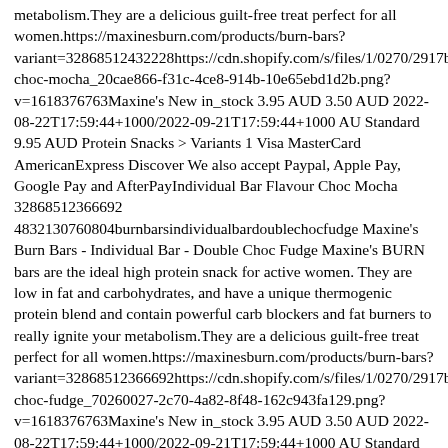metabolism.They are a delicious guilt-free treat perfect for all women.https://maxinesburn.com/products/burn-bars?variant=32868512432228https://cdn.shopify.com/s/files/1/0270/2917/bar-choc-mocha_20cae866-f31c-4ce8-914b-10e65ebd1d2b.png?v=1618376763Maxine's New in_stock 3.95 AUD 3.50 AUD 2022-08-22T17:59:44+1000/2022-09-21T17:59:44+1000 AU Standard 9.95 AUD Protein Snacks > Variants 1 Visa MasterCard AmericanExpress Discover We also accept Paypal, Apple Pay, Google Pay and AfterPayIndividual Bar Flavour Choc Mocha 32868512366692 4832130760804burnbarsindividualbardoublechocfudge Maxine's Burn Bars - Individual Bar - Double Choc Fudge Maxine's BURN bars are the ideal high protein snack for active women. They are low in fat and carbohydrates, and have a unique thermogenic protein blend and contain powerful carb blockers and fat burners to really ignite your metabolism.They are a delicious guilt-free treat perfect for all women.https://maxinesburn.com/products/burn-bars?variant=32868512366692https://cdn.shopify.com/s/files/1/0270/2917/bar-choc-fudge_70260027-2c70-4a82-8f48-162c943fa129.png?v=1618376763Maxine's New in_stock 3.95 AUD 3.50 AUD 2022-08-22T17:59:44+1000/2022-09-21T17:59:44+1000 AU Standard 9.95 AUD Protein Snacks > Variants 1 Visa MasterCard AmericanExpress Discover We also accept Paypal, Apple Pay, Google Pay and AfterPayIndividual Bar Flavour Double Choc